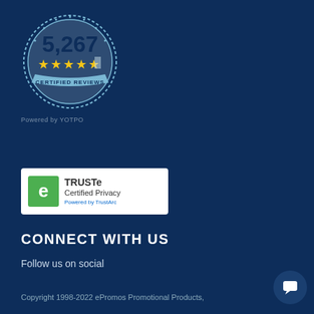[Figure (logo): Circular badge showing '5,267' with 4.5 gold stars and text 'CERTIFIED REVIEWS', styled as a seal/stamp]
Powered by YOTPO
[Figure (logo): TRUSTe Certified Privacy badge with green shield icon and 'Powered by TrustArc' text]
CONNECT WITH US
Follow us on social
Copyright 1998-2022 ePromos Promotional Products,